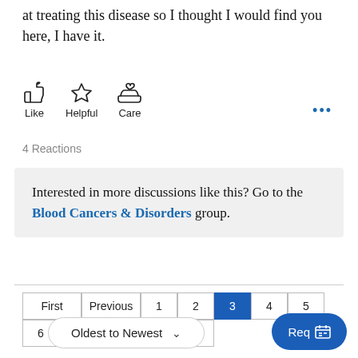at treating this disease so I thought I would find you here, I have it.
[Figure (other): Social reaction icons: thumbs up (Like), star (Helpful), cupped hands with heart (Care)]
4 Reactions
Interested in more discussions like this? Go to the Blood Cancers & Disorders group.
First Previous 1 2 3 4 5 6 ... Next Last — pagination controls, page 3 active
Oldest to Newest